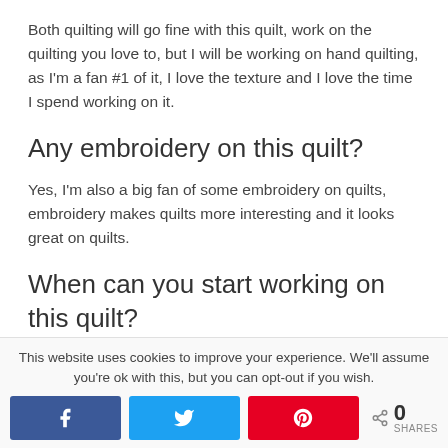Both quilting will go fine with this quilt, work on the quilting you love to, but I will be working on hand quilting, as I'm a fan #1 of it, I love the texture and I love the time I spend working on it.
Any embroidery on this quilt?
Yes, I'm also a big fan of some embroidery on quilts, embroidery makes quilts more interesting and it looks great on quilts.
When can you start working on this quilt?
This website uses cookies to improve your experience. We'll assume you're ok with this, but you can opt-out if you wish.
[Figure (infographic): Social share buttons: Facebook, Twitter, Pinterest, and a share count showing 0 SHARES]